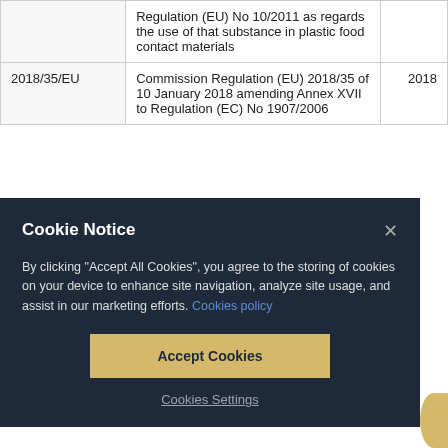|  | Description | Year |
| --- | --- | --- |
|  | Regulation (EU) No 10/2011 as regards the use of that substance in plastic food contact materials |  |
| 2018/35/EU | Commission Regulation (EU) 2018/35 of 10 January 2018 amending Annex XVII to Regulation (EC) No 1907/2006 | 2018 |
[Figure (screenshot): Cookie Notice dialog overlay on a dark navy background. Contains title 'Cookie Notice', a close button (×), body text about accepting cookies, a link 'Cookies policy', an 'Accept Cookies' button in gold/yellow, and a 'Cookies Settings' link. A partial yellow circle is visible at the bottom right.]